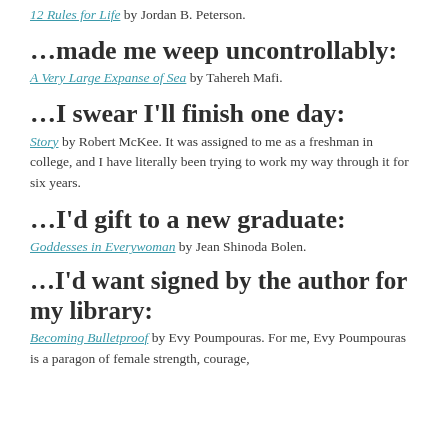12 Rules for Life by Jordan B. Peterson.
…made me weep uncontrollably:
A Very Large Expanse of Sea by Tahereh Mafi.
…I swear I'll finish one day:
Story by Robert McKee. It was assigned to me as a freshman in college, and I have literally been trying to work my way through it for six years.
…I'd gift to a new graduate:
Goddesses in Everywoman by Jean Shinoda Bolen.
…I'd want signed by the author for my library:
Becoming Bulletproof by Evy Poumpouras. For me, Evy Poumpouras is a paragon of female strength, courage,